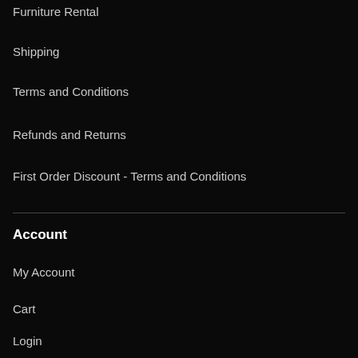Furniture Rental
Shipping
Terms and Conditions
Refunds and Returns
First Order Discount - Terms and Conditions
Account
My Account
Cart
Login